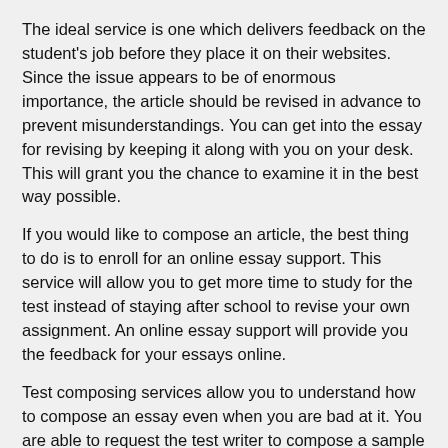The ideal service is one which delivers feedback on the student's job before they place it on their websites. Since the issue appears to be of enormous importance, the article should be revised in advance to prevent misunderstandings. You can get into the essay for revising by keeping it along with you on your desk. This will grant you the chance to examine it in the best way possible.
If you would like to compose an article, the best thing to do is to enroll for an online essay support. This service will allow you to get more time to study for the test instead of staying after school to revise your own assignment. An online essay support will provide you the feedback for your essays online.
Test composing services allow you to understand how to compose an essay even when you are bad at it. You are able to request the test writer to compose a sample article for you. This manner, you'll be able to get the required amount of training.
By completing extraordinary info the last project of a final examination, you'll be able to ace your evaluation. You will also be able to gain the confidence required to tackle any challenge that comes on your way. Some of the subjects that test writers usually handle include: geography, history, mathematics, grammar, punctuation, composition, rhetoric and history.